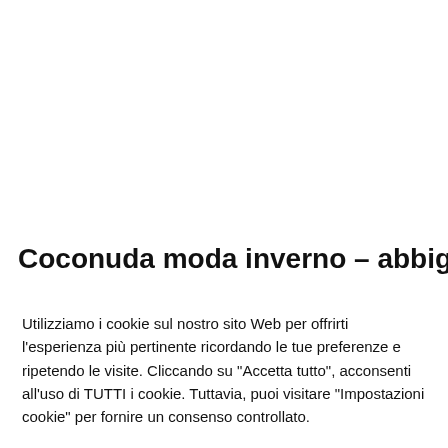Coconuda moda inverno – abbigliamento
Utilizziamo i cookie sul nostro sito Web per offrirti l'esperienza più pertinente ricordando le tue preferenze e ripetendo le visite. Cliccando su "Accetta tutto", acconsenti all'uso di TUTTI i cookie. Tuttavia, puoi visitare "Impostazioni cookie" per fornire un consenso controllato.